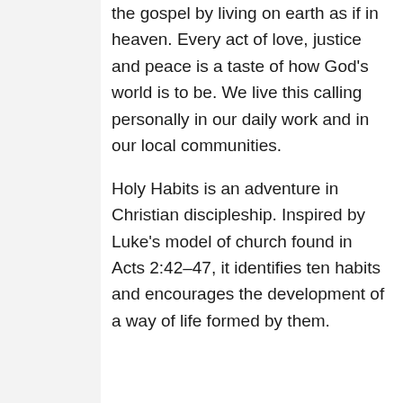the gospel by living on earth as if in heaven. Every act of love, justice and peace is a taste of how God's world is to be. We live this calling personally in our daily work and in our local communities.
Holy Habits is an adventure in Christian discipleship. Inspired by Luke's model of church found in Acts 2:42–47, it identifies ten habits and encourages the development of a way of life formed by them.